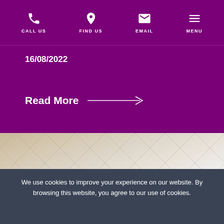CALL US   FIND US   EMAIL   MENU
16/08/2022
Read More →
[Figure (photo): Ceiling tiles texture with diamond/cross pattern in beige and grey tones]
We use cookies to improve your experience on our website. By browsing this website, you agree to our use of cookies.
Ok, I've understood!
More Info